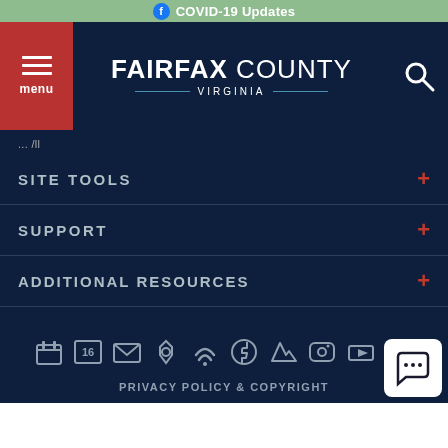COVID-19 Updates
[Figure (screenshot): Fairfax County Virginia government website navigation header with menu button, logo, and search icon]
... /ll
SITE TOOLS
SUPPORT
ADDITIONAL RESOURCES
[Figure (infographic): Row of social/utility icons: calendar, 16, email, shield, wifi, Facebook, Twitter, Instagram, YouTube, mobile]
PRIVACY POLICY & COPYRIGHT